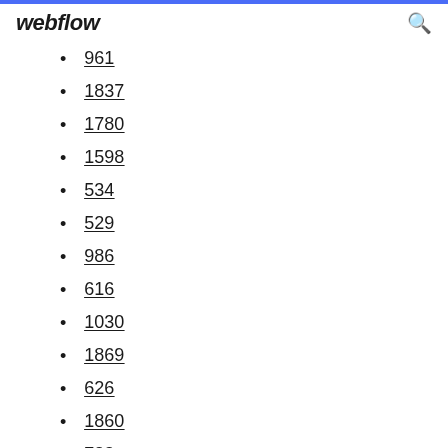webflow
961
1837
1780
1598
534
529
986
616
1030
1869
626
1860
783